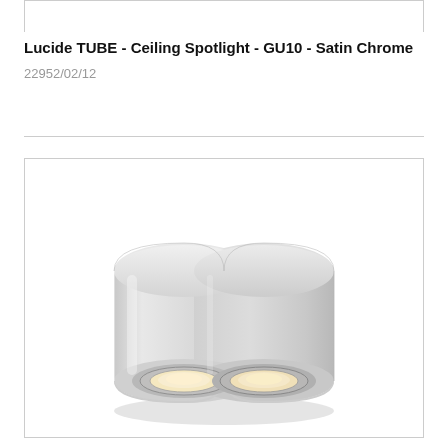Lucide TUBE - Ceiling Spotlight - GU10 - Satin Chrome
22952/02/12
[Figure (photo): Lucide TUBE double ceiling spotlight in satin chrome/white finish, showing two GU10 lamp holders with warm white light, cylindrical double-barrel body viewed from slight angle below]